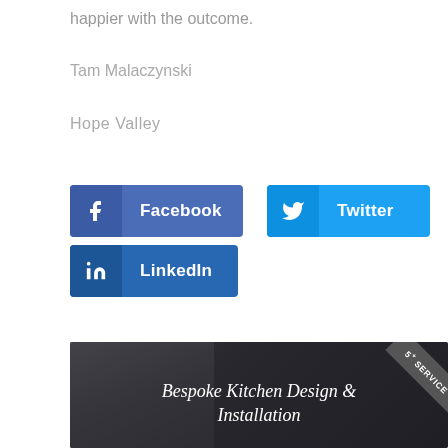happier with the outcome.
Tam Malaczynski
Hope Valley
[Figure (infographic): Three social media share buttons: Facebook (dark blue with Facebook icon), Twitter (light blue with Twitter bird icon), LinkedIn (blue with LinkedIn 'in' icon)]
[Figure (photo): Dark interior photo of a bespoke kitchen design showing stone wall and glass roof structure, with text overlay 'Bespoke Kitchen Design & Installation' and a '5* SERVICE' badge in the upper right corner]